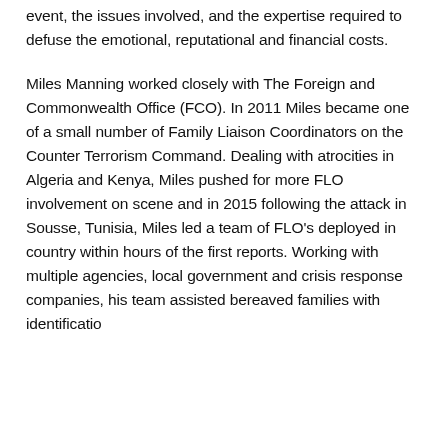event, the issues involved, and the expertise required to defuse the emotional, reputational and financial costs.
Miles Manning worked closely with The Foreign and Commonwealth Office (FCO). In 2011 Miles became one of a small number of Family Liaison Coordinators on the Counter Terrorism Command. Dealing with atrocities in Algeria and Kenya, Miles pushed for more FLO involvement on scene and in 2015 following the attack in Sousse, Tunisia, Miles led a team of FLO's deployed in country within hours of the first reports. Working with multiple agencies, local government and crisis response companies, his team assisted bereaved families with identification